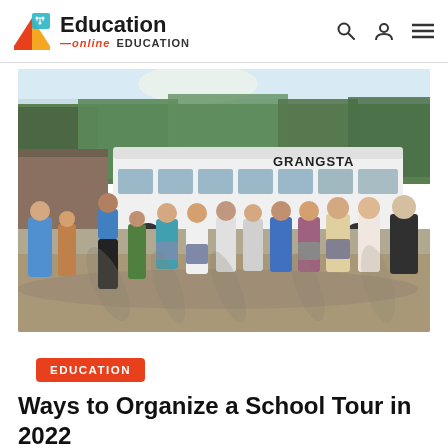Education — online EDUCATION
[Figure (photo): Group of students and adults standing in a parking lot in front of a white coach bus labeled GRANGSTA, on a sunny day]
EDUCATION
Ways to Organize a School Tour in 2022